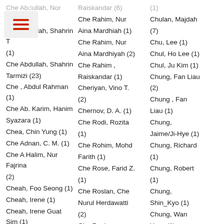Che Abdullah, Nor Suhaili (1)
Che Abdullah, Shahrin T (1)
Che Abdullah, Shahrin Tarmizi (23)
Che , Abdul Rahman (1)
Che Ab. Karim, Hanim Syazara (1)
Chea, Chin Yung (1)
Che Adnan, C. M. (1)
Che A Halim, Nur Fajrina (2)
Cheah, Foo Seong (1)
Cheah, Irene (1)
Cheah, Irene Guat Sim (1)
Che Ahmad, Aminudin (109)
Che Ahmad, Ayoib (1)
Cheah, Mei Yee (1)
Raiskandar (6)
Che Rahim, Nur Aina Mardhiah (1)
Che Rahim, Nur Aina Mardhiyah (2)
Che Rahim , Raiskandar (1)
Cheriyan, Vino T. (2)
Chernov, D. A. (1)
Che Rodi, Rozita (1)
Che Rohim, Mohd Farith (1)
Che Rose, Farid Z. (1)
Che Roslan, Che Nurul Herdawatti (2)
Che Roslan,
(1)
Chulan, Majdah (7)
Chu, Lee (1)
Chul, Ho Lee (1)
Chul, Ju Kim (1)
Chung, Fan Liau (2)
Chung , Fan Liau (1)
Chung, Jaime/Ji-Hye (1)
Chung, Richard (1)
Chung, Robert (1)
Chung, Shin_Kyo (1)
Chung, Wan Yean (1)